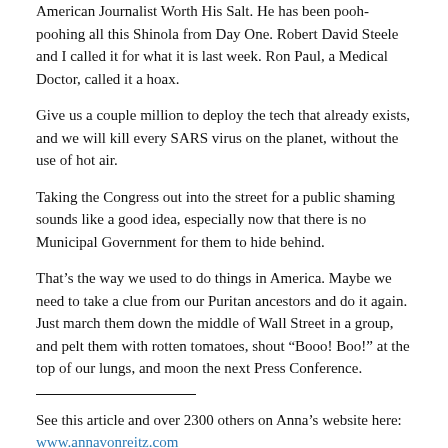American Journalist Worth His Salt. He has been pooh-poohing all this Shinola from Day One. Robert David Steele and I called it for what it is last week. Ron Paul, a Medical Doctor, called it a hoax.
Give us a couple million to deploy the tech that already exists, and we will kill every SARS virus on the planet, without the use of hot air.
Taking the Congress out into the street for a public shaming sounds like a good idea, especially now that there is no Municipal Government for them to hide behind.
That’s the way we used to do things in America. Maybe we need to take a clue from our Puritan ancestors and do it again. Just march them down the middle of Wall Street in a group, and pelt them with rotten tomatoes, shout “Booo! Boo!” at the top of our lungs, and moon the next Press Conference.
See this article and over 2300 others on Anna’s website here: www.annavonreitz.com
To support this work look for the PayPal buttons on this website.